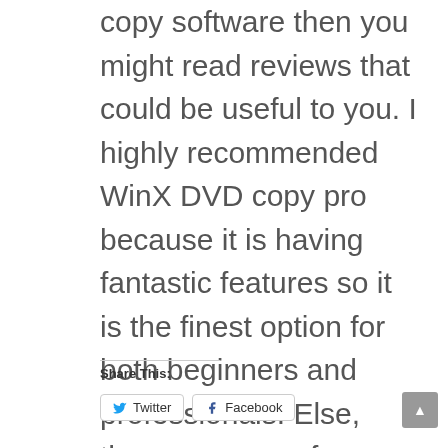copy software then you might read reviews that could be useful to you. I highly recommended WinX DVD copy pro because it is having fantastic features so it is the finest option for both beginners and professionals. Else, there are some free copiers around that you can try if you have a limited budget. One of the main concerns about the free tools is their output quality. Also, beware that some free apps may require you to install extra toolbars or contains ads.
Share This:
Twitter
Facebook